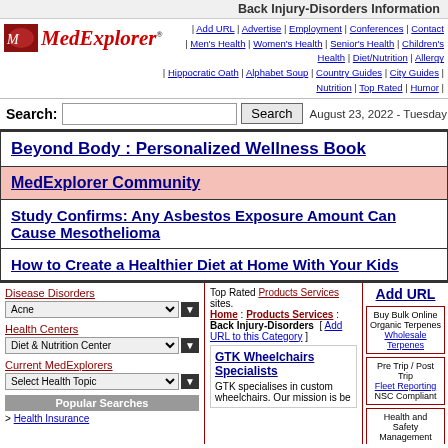Back Injury-Disorders Information
[Figure (logo): MedExplorer logo with red icon and italic red text]
| Add URL | Advertise | Employment | Conferences | Contact | Men's Health | Women's Health | Senior's Health | Children's Health | Diet/Nutrition | Allergy | Hippocratic Oath | Alphabet Soup | Country Guides | City Guides | Nutrition | Top Rated | Humor |
Search: [input] Search August 23, 2022 - Tuesday
Beyond Body : Personalized Wellness Book
MedExplorer Community
Study Confirms: Any Asbestos Exposure Amount Can Cause Mesothelioma
How to Create a Healthier Diet at Home With Your Kids
Disease Disorders
Acne
Health Centers
Diet & Nutrition Center
Current MedExplorers
Select Health Topic
Popular Searches
> Health Insurance
Top Rated Products Services sites. Home : Products Services : Back Injury-Disorders [ Add URL to this Category ]
GTK Wheelchairs Specialists
GTK specialises in custom wheelchairs. Our mission is be
Add URL
Buy Bulk Online Organic Terpenes
Wholesale Terpenes
Pre Trip / Post Trip
Fleet Reporting
NSC Compliant
Health and Safety Management System
XINSPECT